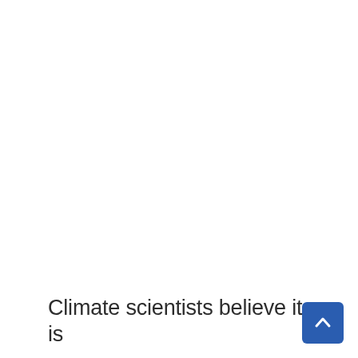Climate scientists believe it is
[Figure (other): Blue rounded square button with a white upward-pointing chevron arrow, used as a scroll-to-top UI control]